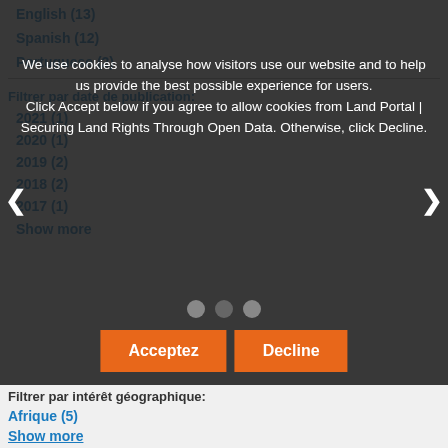English (13)
Spanish (12)
Portuguese (2)
Filtrer par date de publication:
2021 (1)
2020 (1)
2019 (2)
2018 (2)
2017 (1)
Show more
We use cookies to analyse how visitors use our website and to help us provide the best possible experience for users. Click Accept below if you agree to allow cookies from Land Portal | Securing Land Rights Through Open Data. Otherwise, click Decline.
Filtrer par intérêt géographique:
Afrique (5)
Show more
Filtrer par éditeur(s):